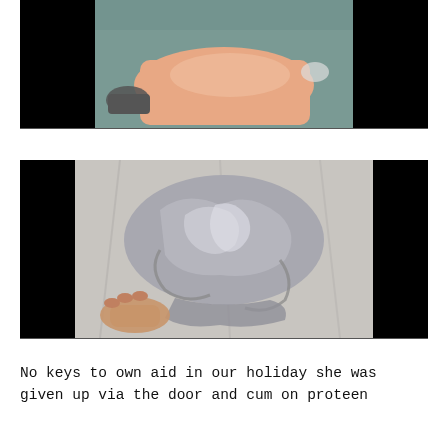[Figure (photo): Photo showing a person's skin/body area with shoes visible, on a textured surface; black bars on sides]
[Figure (photo): Photo of crumpled light grey fabric/clothing item being held by a hand, laid on a flat surface; black bars on sides]
No keys to own aid in our holiday she was given up via the door and cum on proteen